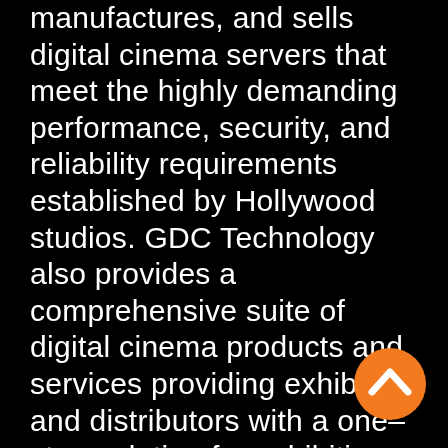manufactures, and sells digital cinema servers that meet the highly demanding performance, security, and reliability requirements established by Hollywood studios. GDC Technology also provides a comprehensive suite of digital cinema products and services providing exhibitors and distributors with a one–stop solution for exhibiting digital cinema content, including integrated projection systems, 3D products, projector lamps, and silver screens. Founded in Singapore in 1999 and headquartered in Hong Kong, GDC Technology has established a global market presence and strong brand recognition with 11offices and 27 local service centers
[Figure (other): Orange circle button with white upward-pointing chevron/arrow icon, positioned at bottom right of page]